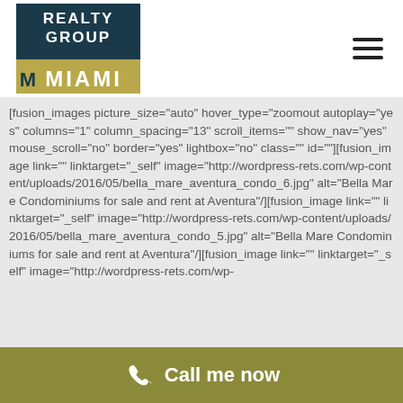[Figure (logo): Realty Group of Miami logo — dark teal rectangle with white text REALTY GROUP, gold bar with 'of', gold text MIAMI with palm tree M]
[fusion_images picture_size="auto" hover_type="zoomout autoplay="yes" columns="1" column_spacing="13" scroll_items="" show_nav="yes" mouse_scroll="no" border="yes" lightbox="no" class="" id=""][fusion_image link="" linktarget="_self" image="http://wordpress-rets.com/wp-content/uploads/2016/05/bella_mare_aventura_condo_6.jpg" alt="Bella Mare Condominiums for sale and rent at Aventura"/][fusion_image link="" linktarget="_self" image="http://wordpress-rets.com/wp-content/uploads/2016/05/bella_mare_aventura_condo_5.jpg" alt="Bella Mare Condominiums for sale and rent at Aventura"/][fusion_image link="" linktarget="_self" image="http://wordpress-
Call me now